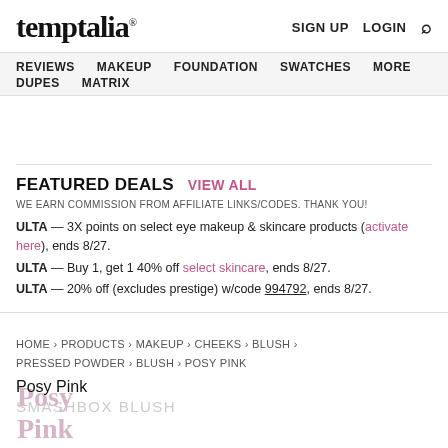temptalia® — SIGN UP  LOGIN  🔍
REVIEWS  MAKEUP  FOUNDATION  SWATCHES  MORE  DUPES  MATRIX
FEATURED DEALS  VIEW ALL
WE EARN COMMISSION FROM AFFILIATE LINKS/CODES. THANK YOU!
ULTA — 3X points on select eye makeup & skincare products (activate here), ends 8/27.
ULTA — Buy 1, get 1 40% off select skincare, ends 8/27.
ULTA — 20% off (excludes prestige) w/code 994792, ends 8/27.
HOME › PRODUCTS › MAKEUP › CHEEKS › BLUSH › PRESSED POWDER › BLUSH › POSY PINK
Posy Pink
SMASHBOX BLUSH